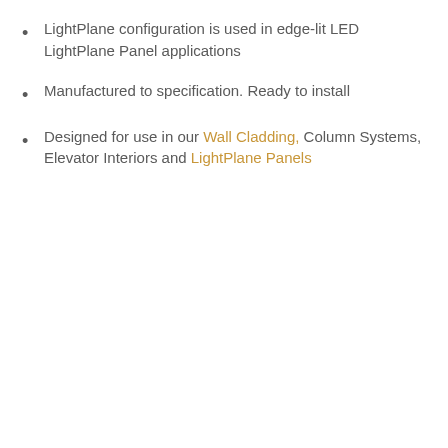LightPlane configuration is used in edge-lit LED LightPlane Panel applications
Manufactured to specification. Ready to install
Designed for use in our Wall Cladding, Column Systems, Elevator Interiors and LightPlane Panels